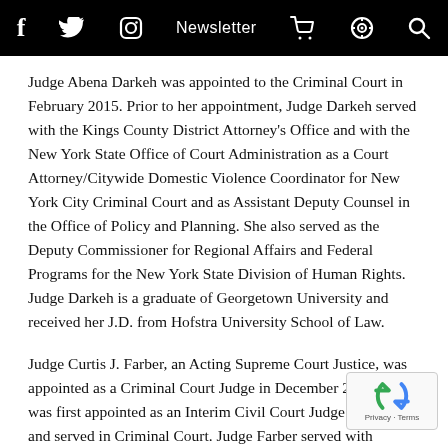f  twitter  instagram  Newsletter  cart  podcast  search
Judge Abena Darkeh was appointed to the Criminal Court in February 2015. Prior to her appointment, Judge Darkeh served with the Kings County District Attorney's Office and with the New York State Office of Court Administration as a Court Attorney/Citywide Domestic Violence Coordinator for New York City Criminal Court and as Assistant Deputy Counsel in the Office of Policy and Planning. She also served as the Deputy Commissioner for Regional Affairs and Federal Programs for the New York State Division of Human Rights. Judge Darkeh is a graduate of Georgetown University and received her J.D. from Hofstra University School of Law.
Judge Curtis J. Farber, an Acting Supreme Court Justice, was appointed as a Criminal Court Judge in December 2013. He was first appointed as an Interim Civil Court Judge in 2012 and served in Criminal Court. Judge Farber served with